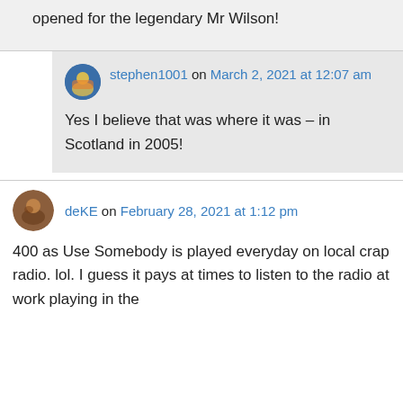opened for the legendary Mr Wilson!
stephen1001 on March 2, 2021 at 12:07 am
Yes I believe that was where it was – in Scotland in 2005!
deKE on February 28, 2021 at 1:12 pm
400 as Use Somebody is played everyday on local crap radio. lol. I guess it pays at times to listen to the radio at work playing in the background.